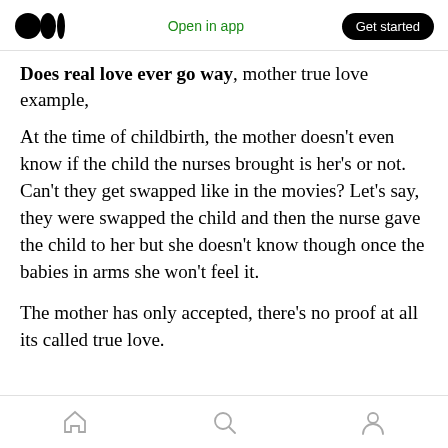Medium logo | Open in app | Get started
Does real love ever go way, mother true love example,
At the time of childbirth, the mother doesn't even know if the child the nurses brought is her's or not. Can't they get swapped like in the movies? Let's say, they were swapped the child and then the nurse gave the child to her but she doesn't know though once the babies in arms she won't feel it.
The mother has only accepted, there's no proof at all its called true love.
Home | Search | Profile